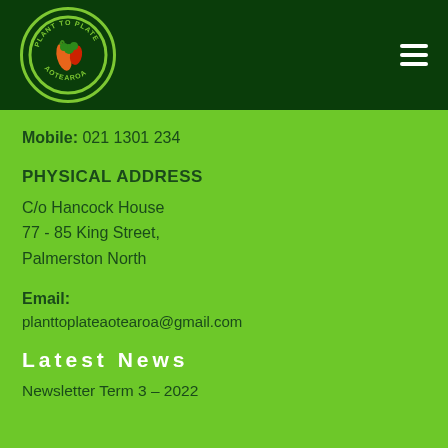[Figure (logo): Plant to Plate Aotearoa circular logo with vegetables on dark green background, with hamburger menu icon on the right]
Mobile: 021 1301 234
PHYSICAL ADDRESS
C/o Hancock House
77 - 85 King Street,
Palmerston North
Email:
planttoplateaotearoa@gmail.com
Latest News
Newsletter Term 3 – 2022